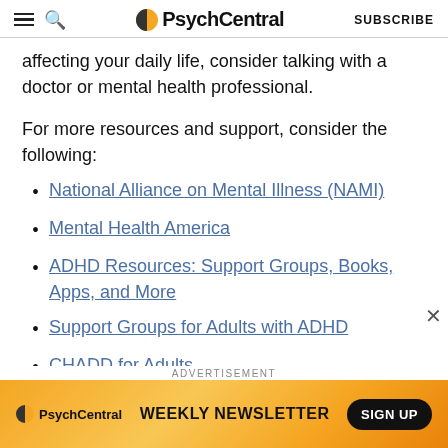PsychCentral — SUBSCRIBE
affecting your daily life, consider talking with a doctor or mental health professional.
For more resources and support, consider the following:
National Alliance on Mental Illness (NAMI)
Mental Health America
ADHD Resources: Support Groups, Books, Apps, and More
Support Groups for Adults with ADHD
CHADD for Adults
[Figure (infographic): PsychCentral advertisement banner: 'WEEKLY NEWSLETTER — SIGN UP' with orange gradient background and PsychCentral logo]